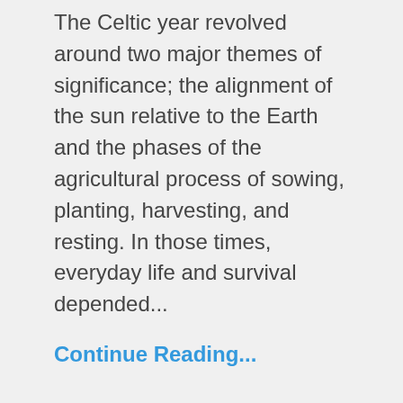The Celtic year revolved around two major themes of significance; the alignment of the sun relative to the Earth and the phases of the agricultural process of sowing, planting, harvesting, and resting. In those times, everyday life and survival depended...
Continue Reading...